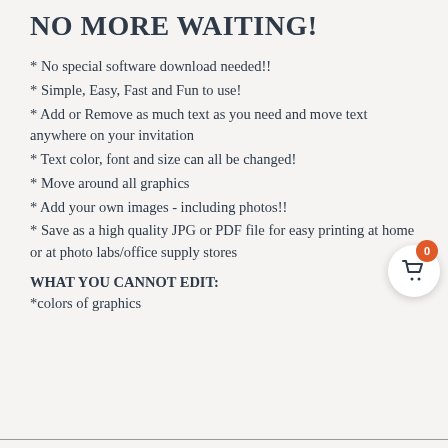NO MORE WAITING!
* No special software download needed!!
* Simple, Easy, Fast and Fun to use!
* Add or Remove as much text as you need and move text anywhere on your invitation
* Text color, font and size can all be changed!
* Move around all graphics
* Add your own images - including photos!!
* Save as a high quality JPG or PDF file for easy printing at home or at photo labs/office supply stores
WHAT YOU CANNOT EDIT:
*colors of graphics